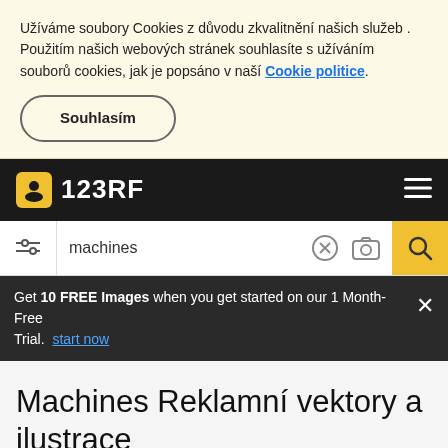Užíváme soubory Cookies z důvodu zkvalitnění našich služeb . Použitím našich webových stránek souhlasíte s užíváním souborů cookies, jak je popsáno v naší Cookie politice.
Souhlasím
123RF
machines
Get 10 FREE Images when you get started on our 1 Month-Free Trial. start now
Machines Reklamní vektory a ilustrace